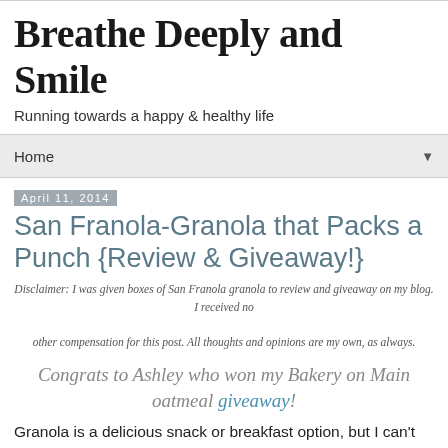Breathe Deeply and Smile
Running towards a happy & healthy life
Home ▼
April 11, 2014
San Franola-Granola that Packs a Punch {Review & Giveaway!}
Disclaimer: I was given boxes of San Franola granola to review and giveaway on my blog. I received no other compensation for this post. All thoughts and opinions are my own, as always.
Congrats to Ashley who won my Bakery on Main oatmeal giveaway!
Granola is a delicious snack or breakfast option, but I can't have too much of it in the house. If I buy a bag of it my